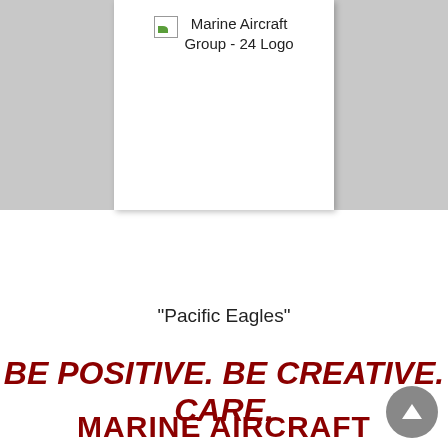[Figure (logo): Marine Aircraft Group - 24 Logo placeholder image with broken image icon and alt text]
"Pacific Eagles"
BE POSITIVE. BE CREATIVE. CARE.
MARINE AIRCRAFT GROUP 24 ENHANCES